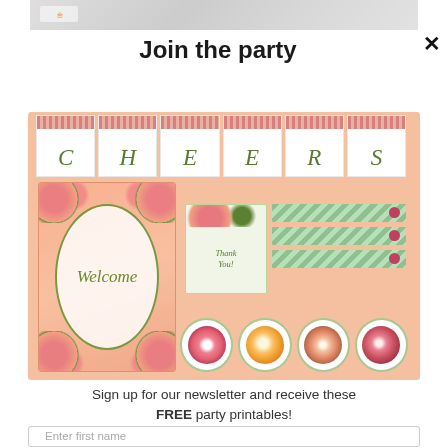[Figure (photo): Partial top photo showing marble surface with a logo/watermark]
Join the party
[Figure (illustration): Floral party printables set on a peach background: a 'CHEERS' banner with floral pennant flags, a Welcome sign with rose wreath border, a Thank You card, washi tape strips with green diagonal pattern, and four flower circle toppers]
Sign up for our newsletter and receive these FREE party printables!
Enter first name